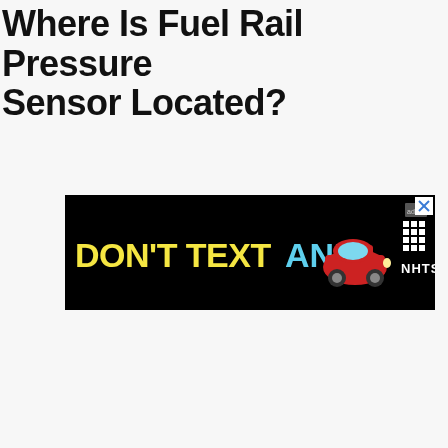Where Is Fuel Rail Pressure Sensor Located?
[Figure (other): NHTSA 'Don't Text and Drive' advertisement banner with black background, yellow text 'DON'T TEXT', cyan text 'AND', red car emoji, and NHTSA logo with ad choice icon and close button]